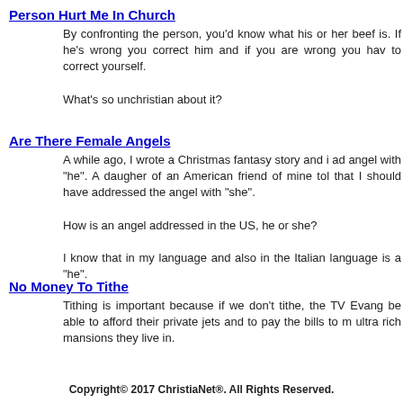Person Hurt Me In Church
By confronting the person, you'd know what his or her beef is. If he's wrong you correct him and if you are wrong you have to correct yourself.

What's so unchristian about it?
Are There Female Angels
A while ago, I wrote a Christmas fantasy story and i addressed the angel with "he". A daugher of an American friend of mine told me that I should have addressed the angel with "she".

How is an angel addressed in the US, he or she?

I know that in my language and also in the Italian language, the angel is a "he".
No Money To Tithe
Tithing is important because if we don't tithe, the TV Evangelist won't be able to afford their private jets and to pay the bills to maintain the ultra rich mansions they live in.
Copyright© 2017 ChristiaNet®. All Rights Reserved.